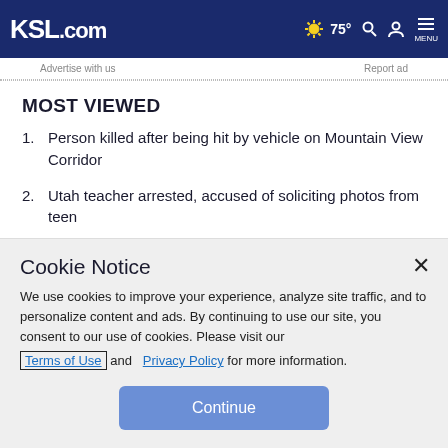KSL.com  ☀ 75°  🔍  👤  MENU
Advertise with us    Report ad
MOST VIEWED
1. Person killed after being hit by vehicle on Mountain View Corridor
2. Utah teacher arrested, accused of soliciting photos from teen
Cookie Notice
We use cookies to improve your experience, analyze site traffic, and to personalize content and ads. By continuing to use our site, you consent to our use of cookies. Please visit our Terms of Use and Privacy Policy for more information.
Continue